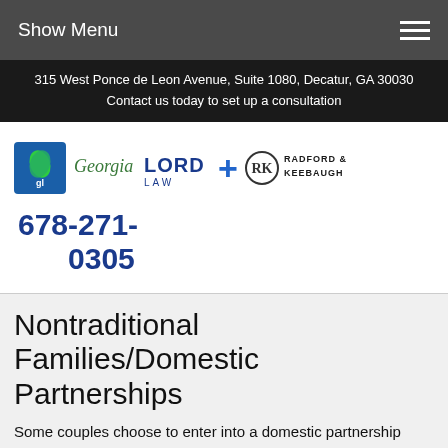Show Menu
315 West Ponce de Leon Avenue, Suite 1080, Decatur, GA 30030
Contact us today to set up a consultation
[Figure (logo): Georgia Lord Law + Radford & Keebaugh logos side by side with a blue plus sign]
678-271-0305
Nontraditional Families/Domestic Partnerships
Some couples choose to enter into a domestic partnership rather than a marriage.